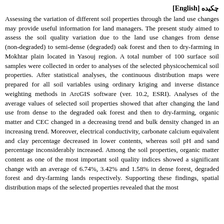چکیده [English]
Assessing the variation of different soil properties through the land use changes may provide useful information for land managers. The present study aimed to assess the soil quality variation due to the land use changes from dense (non-degraded) to semi-dense (degraded) oak forest and then to dry-farming in Mokhtar plain located in Yasouj region. A total number of 100 surface soil samples were collected in order to analyses of the selected physicochemical soil properties. After statistical analyses, the continuous distribution maps were prepared for all soil variables using ordinary kriging and inverse distance weighting methods in ArcGIS software (ver. 10.2, ESRI). Analyses of the average values of selected soil properties showed that after changing the land use from dense to the degraded oak forest and then to dry-farming, organic matter and CEC changed in a decreasing trend and bulk density changed in an increasing trend. Moreover, electrical conductivity, carbonate calcium equivalent and clay percentage decreased in lower contents, whereas soil pH and sand percentage inconsiderably increased. Among the soil properties, organic matter content as one of the most important soil quality indices showed a significant change with an average of 6.74%, 3.42% and 1.58% in dense forest, degraded forest and dry-farming lands respectively. Supporting these findings, spatial distribution maps of the selected properties revealed that the most